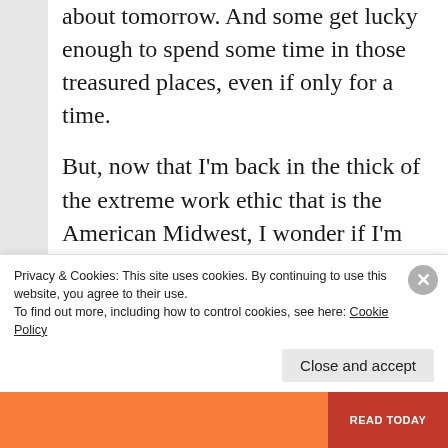about tomorrow. And some get lucky enough to spend some time in those treasured places, even if only for a time.
But, now that I'm back in the thick of the extreme work ethic that is the American Midwest, I wonder if I'm really getting anywhere. I'm "back in the game," but missing out on my own adventures that are just for me. I miss my library. I can feel the irons closing in on me, just as I'm doing
Privacy & Cookies: This site uses cookies. By continuing to use this website, you agree to their use.
To find out more, including how to control cookies, see here: Cookie Policy